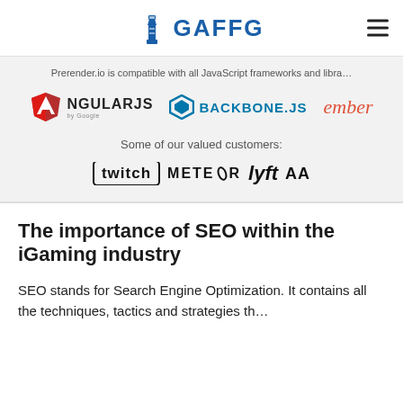GAFFG
Prerender.io is compatible with all JavaScript frameworks and libra…
[Figure (logo): AngularJS logo with red shield and text 'AngularJS by Google']
[Figure (logo): Backbone.js logo with blue diamond icon and text 'BACKBONE.JS']
[Figure (logo): Ember logo in orange italic script]
Some of our valued customers:
[Figure (logo): Twitch logo in bordered box]
[Figure (logo): METEOR logo with swoosh]
[Figure (logo): Lyft logo in bold italic]
[Figure (logo): AA partial logo (cut off)]
The importance of SEO within the iGaming industry
SEO stands for Search Engine Optimization. It contains all the techniques, tactics and strategies th…